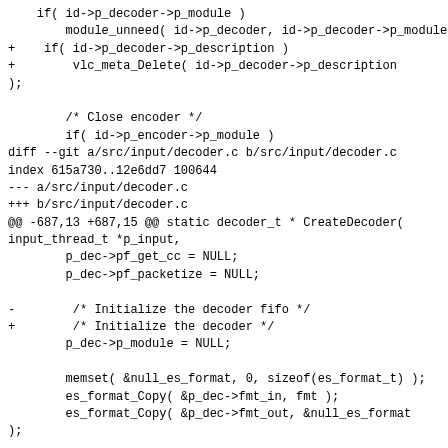if( id->p_decoder->p_module )
            module_unneed( id->p_decoder, id->p_decoder->p_module );
+    if( id->p_decoder->p_description )
+        vlc_meta_Delete( id->p_decoder->p_description
);

        /* Close encoder */
        if( id->p_encoder->p_module )
diff --git a/src/input/decoder.c b/src/input/decoder.c
index 615a730..12e6dd7 100644
--- a/src/input/decoder.c
+++ b/src/input/decoder.c
@@ -687,13 +687,15 @@ static decoder_t * CreateDecoder(
input_thread_t *p_input,
        p_dec->pf_get_cc = NULL;
        p_dec->pf_packetize = NULL;

-        /* Initialize the decoder fifo */
+        /* Initialize the decoder */
        p_dec->p_module = NULL;

        memset( &null_es_format, 0, sizeof(es_format_t) );
        es_format_Copy( &p_dec->fmt_in, fmt );
        es_format_Copy( &p_dec->fmt_out, &null_es_format
);

+    p_dec->p_description = NULL;
+
        /* Allocate our private structure for the decoder